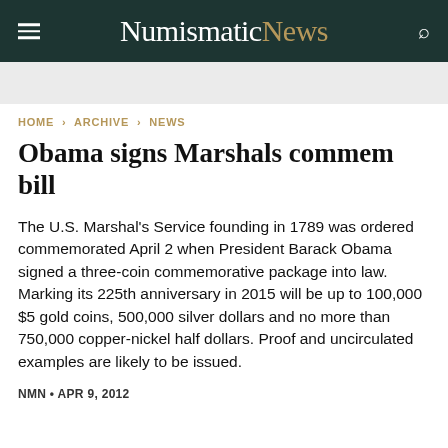NumismaticNews
HOME › ARCHIVE › NEWS
Obama signs Marshals commem bill
The U.S. Marshal's Service founding in 1789 was ordered commemorated April 2 when President Barack Obama signed a three-coin commemorative package into law. Marking its 225th anniversary in 2015 will be up to 100,000 $5 gold coins, 500,000 silver dollars and no more than 750,000 copper-nickel half dollars. Proof and uncirculated examples are likely to be issued.
NMN • APR 9, 2012